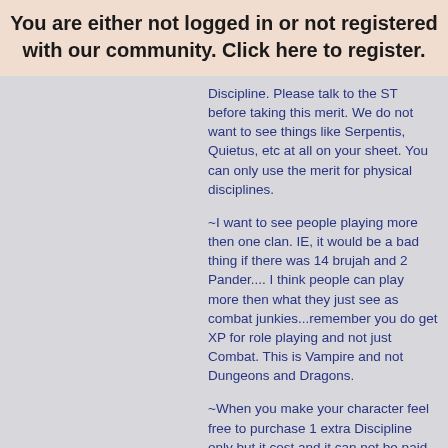You are either not logged in or not registered with our community. Click here to register.
Discipline. Please talk to the ST before taking this merit. We do not want to see things like Serpentis, Quietus, etc at all on your sheet. You can only use the merit for physical disciplines.
~I want to see people playing more then one clan. IE, it would be a bad thing if there was 14 brujah and 2 Pander.... I think people can play more then what they just see as combat junkies...remember you do get XP for role playing and not just Combat. This is Vampire and not Dungeons and Dragons.
~When you make your character feel free to purchase 1 extra Discipline only but it cost and it can not be paid for out of the 4 points you get unless you take the merit Extra Discipline, where you then have to get ST